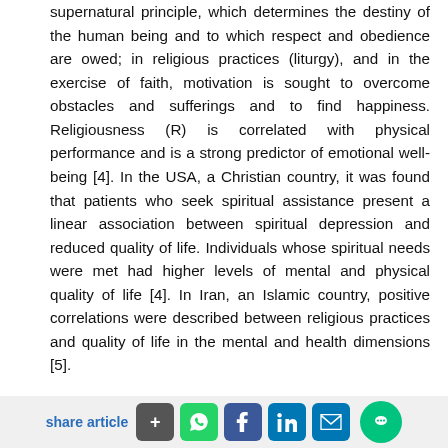supernatural principle, which determines the destiny of the human being and to which respect and obedience are owed; in religious practices (liturgy), and in the exercise of faith, motivation is sought to overcome obstacles and sufferings and to find happiness. Religiousness (R) is correlated with physical performance and is a strong predictor of emotional well-being [4]. In the USA, a Christian country, it was found that patients who seek spiritual assistance present a linear association between spiritual depression and reduced quality of life. Individuals whose spiritual needs were met had higher levels of mental and physical quality of life [4]. In Iran, an Islamic country, positive correlations were described between religious practices and quality of life in the mental and health dimensions [5].

Religious people experience better mental health, adapt
share article + [WhatsApp] [Facebook] [LinkedIn] [Email]